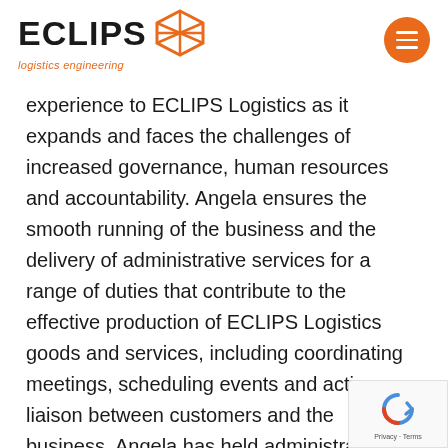ECLIPS logistics engineering
experience to ECLIPS Logistics as it expands and faces the challenges of increased governance, human resources and accountability. Angela ensures the smooth running of the business and the delivery of administrative services for a range of duties that contribute to the effective production of ECLIPS Logistics goods and services, including coordinating meetings, scheduling events and acting a liaison between customers and the business. Angela has held administration and support roles at a
[Figure (logo): reCAPTCHA badge with spinning arrow icon and Privacy - Terms links]